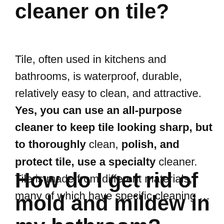cleaner on tile?
Tile, often used in kitchens and bathrooms, is waterproof, durable, relatively easy to clean, and attractive. Yes, you can use an all-purpose cleaner to keep tile looking sharp, but to thoroughly clean, polish, and protect tile, use a specialty cleaner. Tile is made from different materials, many of which have specific cleaning …
How do I get rid of mold and mildew in my bathroom?